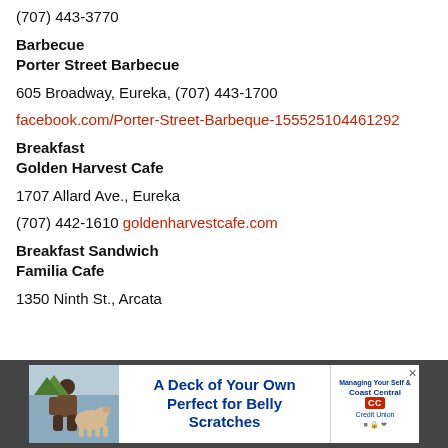(707) 443-3770
Barbecue
Porter Street Barbecue
605 Broadway, Eureka, (707) 443-1700
facebook.com/Porter-Street-Barbeque-155525104461292
Breakfast
Golden Harvest Cafe
1707 Allard Ave., Eureka
(707) 442-1610 goldenharvestcafe.com
Breakfast Sandwich
Familia Cafe
1350 Ninth St., Arcata
[Figure (illustration): Coast Central Credit Union advertisement: 'A Deck of Your Own Perfect for Belly Scratches' with image of person with dog and Coast Central Credit Union logo]